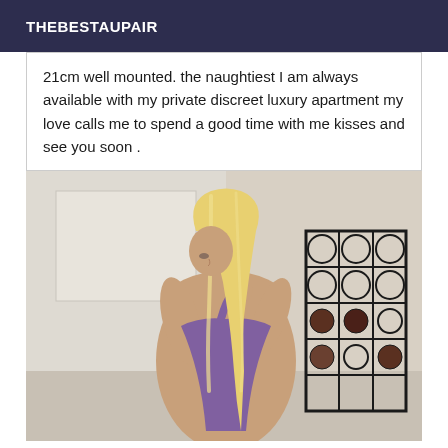THEBESTAUPAIR
21cm well mounted. the naughtiest I am always available with my private discreet luxury apartment my love calls me to spend a good time with me kisses and see you soon .
[Figure (photo): A blonde woman viewed from behind, wearing a purple top, looking down over her shoulder. A black wire wine rack is visible on the right side of the image.]